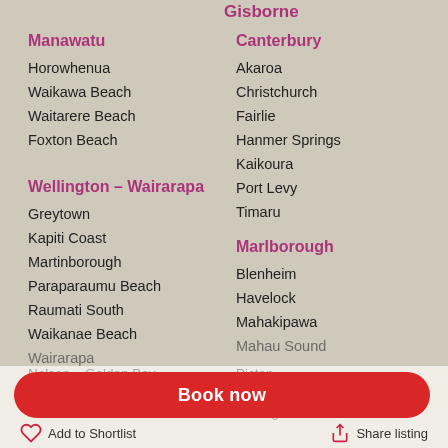Gisborne
Manawatu
Horowhenua
Waikawa Beach
Waitarere Beach
Foxton Beach
Canterbury
Akaroa
Christchurch
Fairlie
Hanmer Springs
Kaikoura
Port Levy
Timaru
Wellington - Wairarapa
Greytown
Kapiti Coast
Martinborough
Paraparaumu Beach
Raumati South
Waikanae Beach
Wairarapa
Marlborough
Blenheim
Havelock
Mahakipawa
Mahau Sound
Book now
Nelson - Golden Bay
Abel Tasman National Park
Picton
Rarangi
Add to Shortlist
Share listing